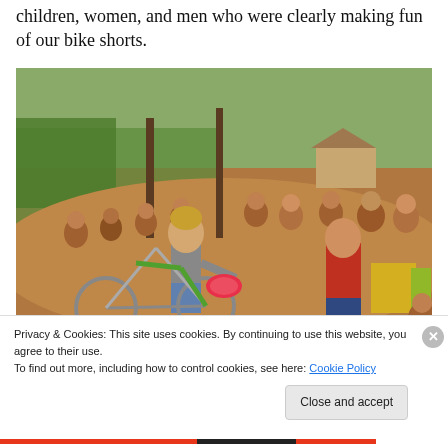children, women, and men who were clearly making fun of our bike shorts.
[Figure (photo): A curly-haired person in a gray shirt and bike shorts stands next to a loaded bicycle, talking to a man in a red shirt. A large group of children and adults sit and stand on a dirt embankment in the background, in a rural outdoor setting.]
Privacy & Cookies: This site uses cookies. By continuing to use this website, you agree to their use.
To find out more, including how to control cookies, see here: Cookie Policy
Close and accept